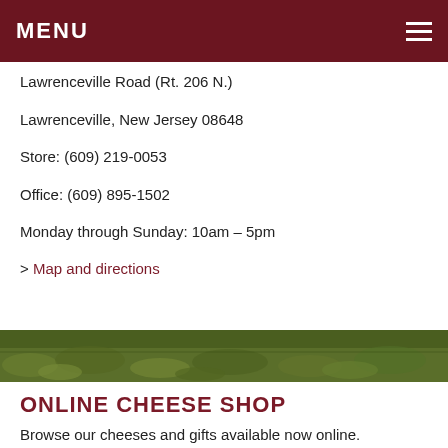MENU
Lawrenceville Road (Rt. 206 N.)
Lawrenceville, New Jersey 08648
Store: (609) 219-0053
Office: (609) 895-1502
Monday through Sunday: 10am – 5pm
> Map and directions
[Figure (photo): A grass field / landscape photo used as a decorative band]
ONLINE CHEESE SHOP
Browse our cheeses and gifts available now online.